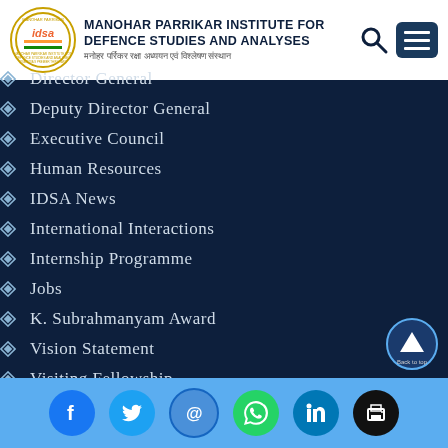[Figure (logo): Manohar Parrikar Institute for Defence Studies and Analyses logo with circular emblem and text in English and Hindi]
Director General
Deputy Director General
Executive Council
Human Resources
IDSA News
International Interactions
Internship Programme
Jobs
K. Subrahmanyam Award
Vision Statement
Visiting Fellowship
[Figure (infographic): Social media icons: Facebook, Twitter, Email, WhatsApp, LinkedIn, Print]